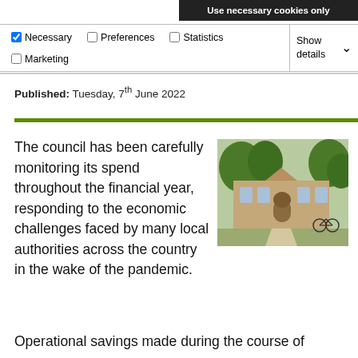Use necessary cookies only
Necessary  Preferences  Statistics  Marketing  Show details
Published: Tuesday, 7th June 2022
The council has been carefully monitoring its spend throughout the financial year, responding to the economic challenges faced by many local authorities across the country in the wake of the pandemic.
[Figure (photo): Exterior photo of a brick council building with trees and a bicycle parked outside]
Operational savings made during the course of